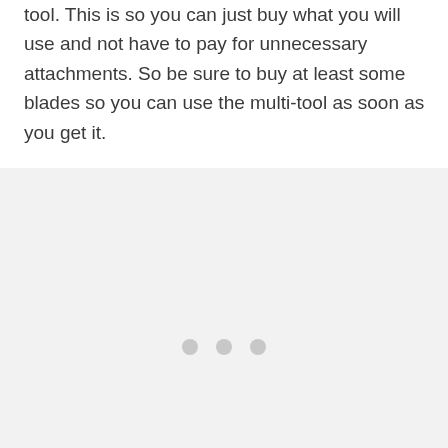tool. This is so you can just buy what you will use and not have to pay for unnecessary attachments. So be sure to buy at least some blades so you can use the multi-tool as soon as you get it.
[Figure (other): Light gray image placeholder area with three pagination dots centered near bottom and UI action buttons (heart/like, count '1', share) on the right side.]